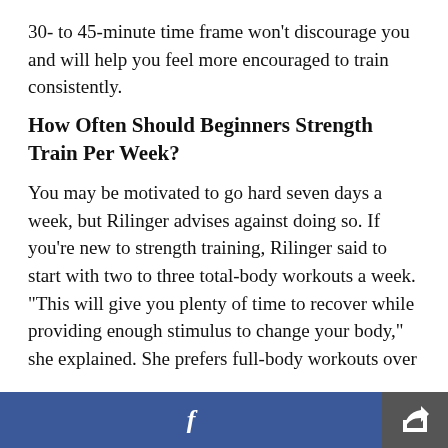30- to 45-minute time frame won't discourage you and will help you feel more encouraged to train consistently.
How Often Should Beginners Strength Train Per Week?
You may be motivated to go hard seven days a week, but Rilinger advises against doing so. If you're new to strength training, Rilinger said to start with two to three total-body workouts a week. "This will give you plenty of time to recover while providing enough stimulus to change your body," she explained. She prefers full-body workouts over
f [share]